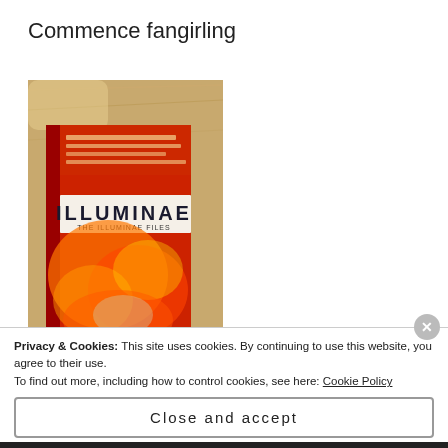Commence fangirling
[Figure (photo): Photo of the book 'Illuminae: The Illuminae Files' by Amie Kaufman and Jay Kristoff, showing the red and orange cover with the title visible, lying on a wooden surface.]
Privacy & Cookies: This site uses cookies. By continuing to use this website, you agree to their use.
To find out more, including how to control cookies, see here: Cookie Policy
Close and accept